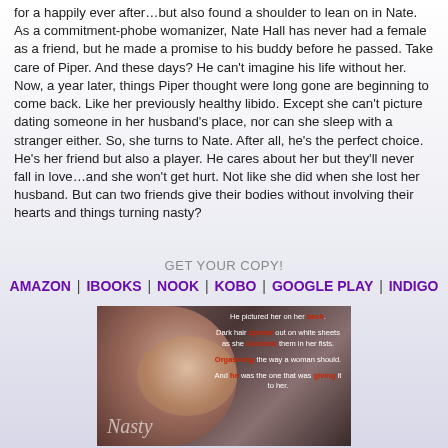for a happily ever after…but also found a shoulder to lean on in Nate. As a commitment-phobe womanizer, Nate Hall has never had a female as a friend, but he made a promise to his buddy before he passed. Take care of Piper. And these days? He can't imagine his life without her. Now, a year later, things Piper thought were long gone are beginning to come back. Like her previously healthy libido. Except she can't picture dating someone in her husband's place, nor can she sleep with a stranger either. So, she turns to Nate. After all, he's the perfect choice. He's her friend but also a player. He cares about her but they'll never fall in love…and she won't get hurt. Not like she did when she lost her husband. But can two friends give their bodies without involving their hearts and things turning nasty?
GET YOUR COPY!
AMAZON | IBOOKS | NOOK | KOBO | GOOGLE PLAY | INDIGO
[Figure (photo): Book cover image showing two people in an intimate pose on white sheets, with overlaid text: 'He pictured her on her back. Dark hair spread out on white sheets as she clutched them in her fists. Orgasming the way a woman should. And he was the one that was giving it to her.' with certain words highlighted in red. Book title 'Nasty' visible at bottom left.]